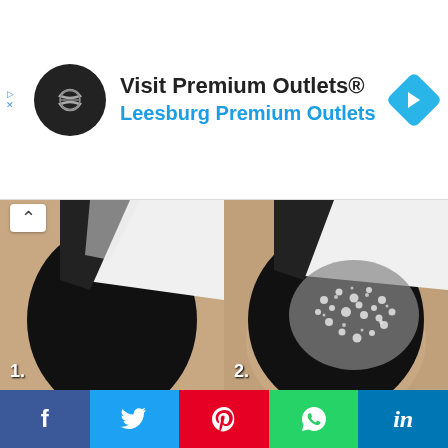[Figure (screenshot): Advertisement banner for Visit Premium Outlets® - Leesburg Premium Outlets, with circular logo, navigation icon, and ad indicators]
[Figure (photo): Step-by-step nail art tutorial showing 4 panels: 1. Black nail with white tape/stencil applied, 2. Silver rhinestones being applied to the taped nail section, 3. Black brush on white background, 4. Partial white background with hamburger menu button]
[Figure (screenshot): Social media sharing bar at bottom with Facebook, Twitter, Pinterest, WhatsApp, and LinkedIn buttons]